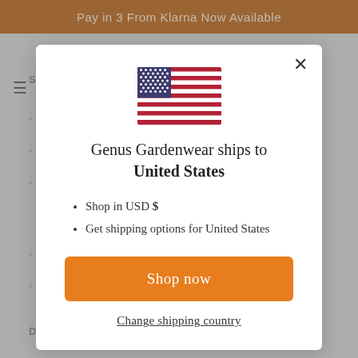Pay in 3 From Klarna Now Available
[Figure (screenshot): US flag emoji / illustration centered at top of modal]
Genus Gardenwear ships to United States
Shop in USD $
Get shipping options for United States
Shop now
Change shipping country